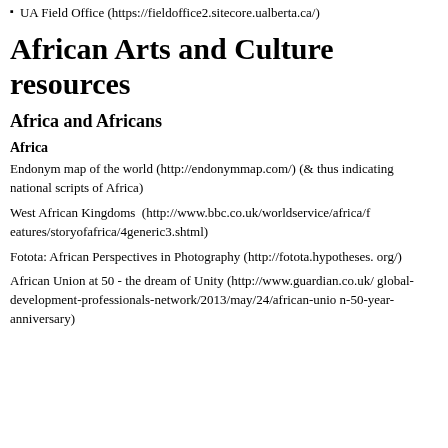UA Field Office (https://fieldoffice2.sitecore.ualberta.ca/)
African Arts and Culture resources
Africa and Africans
Africa
Endonym map of the world (http://endonymmap.com/) (& thus indicating national scripts of Africa)
West African Kingdoms  (http://www.bbc.co.uk/worldservice/africa/features/storyofafrica/4generic3.shtml)
Fotota: African Perspectives in Photography (http://fotota.hypotheses.org/)
African Union at 50 - the dream of Unity (http://www.guardian.co.uk/global-development-professionals-network/2013/may/24/african-union-50-year-anniversary)